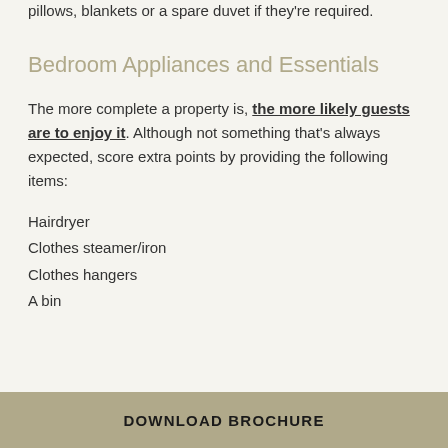pillows, blankets or a spare duvet if they're required.
Bedroom Appliances and Essentials
The more complete a property is, the more likely guests are to enjoy it. Although not something that's always expected, score extra points by providing the following items:
Hairdryer
Clothes steamer/iron
Clothes hangers
A bin
DOWNLOAD BROCHURE